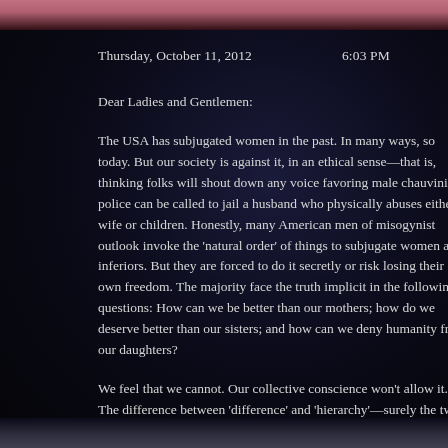[Figure (photo): Partial photo strip at top of page, showing a person with pink/red tones, cropped.]
Thursday, October 11, 2012        6:03 PM
Dear Ladies and Gentlemen:
The USA has subjugated women in the past. In many ways, so today. But our society is against it, in an ethical sense—that is, thinking folks will shout down any voice favoring male chauvinism; police can be called to jail a husband who physically abuses either wife or children. Honestly, many American men of misogynist outlook invoke the 'natural order' of things to subjugate women as inferiors. But they are forced to do it secretly or risk losing their own freedom. The majority face the truth implicit in the following questions: How can we be better than our mothers; how do we deserve better than our sisters; and how can we deny humanity from our daughters?
We feel that we cannot. Our collective conscience won't allow it. The difference between 'difference' and 'hierarchy'—surely the two acknowledge differences—but the females are only different, not less than the...
[Figure (photo): Partial photo strip at bottom of page, showing a person, cropped at top.]